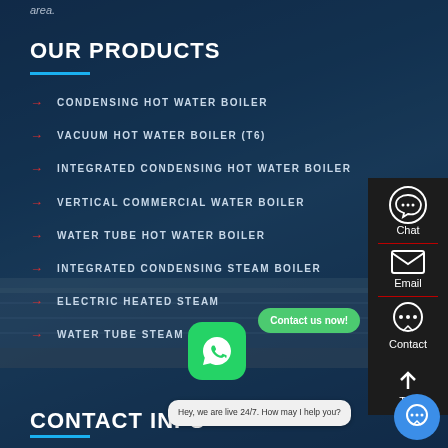area.
OUR PRODUCTS
CONDENSING HOT WATER BOILER
VACUUM HOT WATER BOILER (T6)
INTEGRATED CONDENSING HOT WATER BOILER
VERTICAL COMMERCIAL WATER BOILER
WATER TUBE HOT WATER BOILER
INTEGRATED CONDENSING STEAM BOILER
ELECTRIC HEATED STEAM
WATER TUBE STEAM BOILER
CONTACT INFO
[Figure (screenshot): Sidebar with Chat, Email, Contact, and Top navigation icons on dark background]
[Figure (screenshot): WhatsApp green icon bubble]
[Figure (infographic): Contact us now green button]
Hey, we are live 24/7. How may I help you?